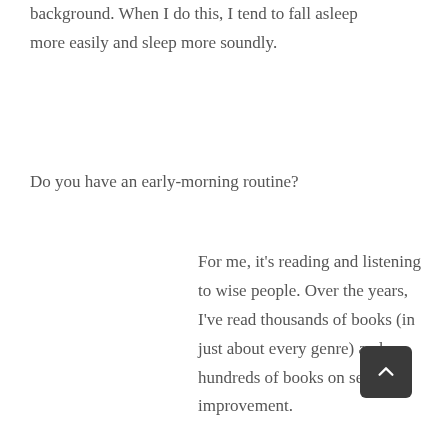background. When I do this, I tend to fall asleep more easily and sleep more soundly.
Do you have an early-morning routine?
For me, it's reading and listening to wise people. Over the years, I've read thousands of books (in just about every genre) and hundreds of books on self-improvement.
Sadly, I find most of the self-help literature to be